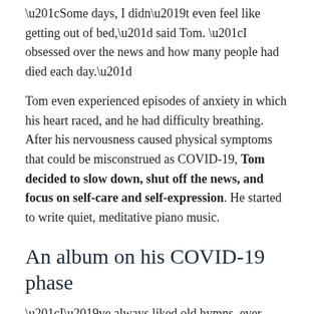“Some days, I didn’t even feel like getting out of bed,” said Tom. “I obsessed over the news and how many people had died each day.”
Tom even experienced episodes of anxiety in which his heart raced, and he had difficulty breathing. After his nervousness caused physical symptoms that could be misconstrued as COVID-19, Tom decided to slow down, shut off the news, and focus on self-care and self-expression. He started to write quiet, meditative piano music.
An album on his COVID-19 phase
“I’ve always liked old hymns, ever since I was a kid,” said Tom. “To work with a song that is about 1,300 years old makes you feel connected to everyone who has sung it before.”
Through the centuries, people have turned to hymns, whether alone or in a community of faith, to connect to higher powers, find strength, and rally inspiration. Tom hopes this new body “By Day or By Night” allows listeners to discover joy and relaxation. The album is now available on all the major